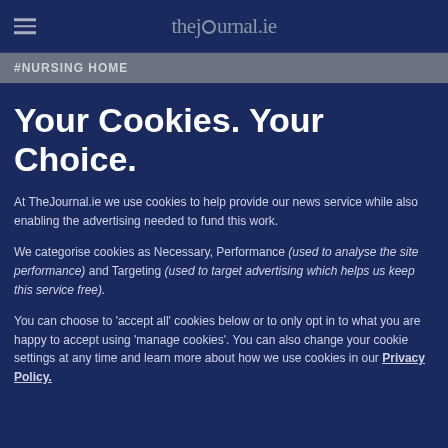thejournal.ie
#NURSING HOME
Your Cookies. Your Choice.
At TheJournal.ie we use cookies to help provide our news service while also enabling the advertising needed to fund this work.
We categorise cookies as Necessary, Performance (used to analyse the site performance) and Targeting (used to target advertising which helps us keep this service free).
You can choose to 'accept all' cookies below or to only opt in to what you are happy to accept using 'manage cookies'. You can also change your cookie settings at any time and learn more about how we use cookies in our Privacy Policy.